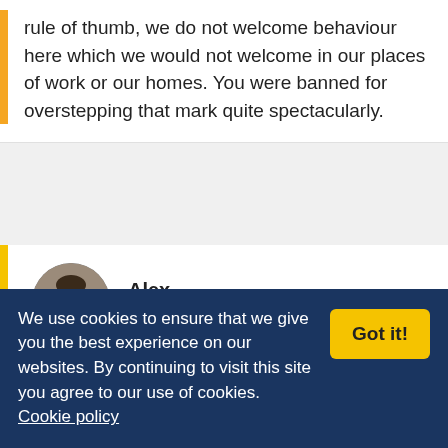rule of thumb, we do not welcome behaviour here which we would not welcome in our places of work or our homes. You were banned for overstepping that mark quite spectacularly.
Alex
12th May 2012, 5:13 pm

I forwarded the email RS sent
We use cookies to ensure that we give you the best experience on our websites. By continuing to visit this site you agree to our use of cookies. Cookie policy